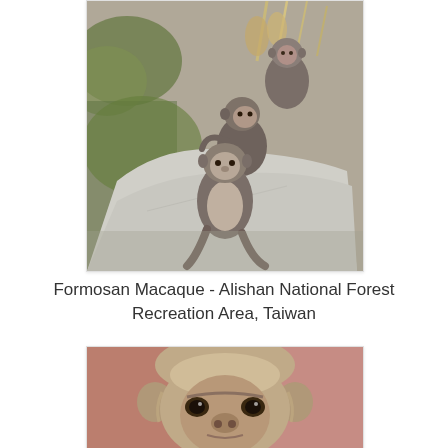[Figure (photo): Three Formosan macaque monkeys sitting on a large white rock or concrete surface. Vegetation including green leaves and dried grasses visible in background. Photo taken at Alishan National Forest Recreation Area, Taiwan.]
Formosan Macaque - Alishan National Forest Recreation Area, Taiwan
[Figure (photo): Close-up portrait of a Formosan macaque monkey face, showing fluffy tan/brown fur on top of head and large eyes looking forward. Blurred pink/red background.]